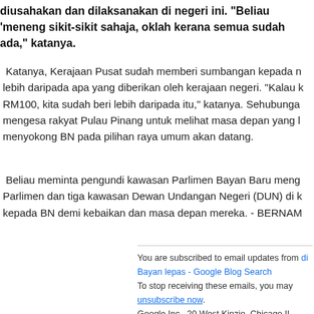diusahakan dan dilaksanakan di negeri ini. "Beliau 'meneng sikit-sikit sahaja, oklah kerana semua sudah ada," katanya.
Katanya, Kerajaan Pusat sudah memberi sumbangan kepada n lebih daripada apa yang diberikan oleh kerajaan negeri. "Kalau k RM100, kita sudah beri lebih daripada itu," katanya. Sehubunga mengesa rakyat Pulau Pinang untuk melihat masa depan yang l menyokong BN pada pilihan raya umum akan datang.
Beliau meminta pengundi kawasan Parlimen Bayan Baru meng Parlimen dan tiga kawasan Dewan Undangan Negeri (DUN) di k kepada BN demi kebaikan dan masa depan mereka. - BERNAM
You are subscribed to email updates from di Bayan lepas - Google Blog Search
To stop receiving these emails, you may unsubscribe now.
Google Inc., 20 West Kinzie, Chicago IL USA 60610
Dicatat oleh Admin di 3:06 PTG   Tiada ulasan:
09 di tanjung tokong - Google Blog Searc